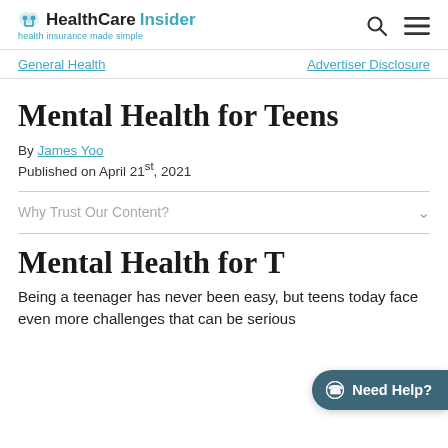HealthCareInsider — health insurance made simple
General Health | Advertiser Disclosure
Mental Health for Teens
By James Yoo
Published on April 21st, 2021
Why Trust Our Content?
Mental Health for Teens
Being a teenager has never been easy, but teens today face even more challenges that can be serious